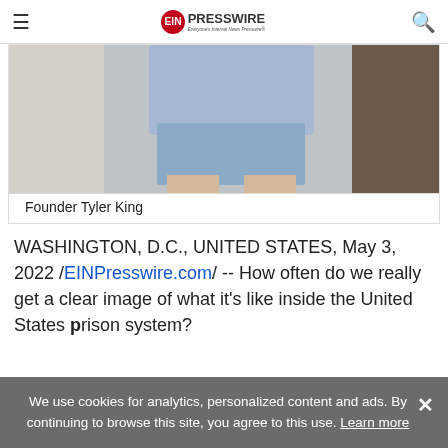EINPresswire — Everyone's Internet News Presswire
[Figure (photo): Photo of Founder Tyler King showing lower body in blue shorts standing against a wall]
Founder Tyler King
WASHINGTON, D.C., UNITED STATES, May 3, 2022 /EINPresswire.com/ -- How often do we really get a clear image of what it's like inside the United States prison system?
We use cookies for analytics, personalized content and ads. By continuing to browse this site, you agree to this use. Learn more